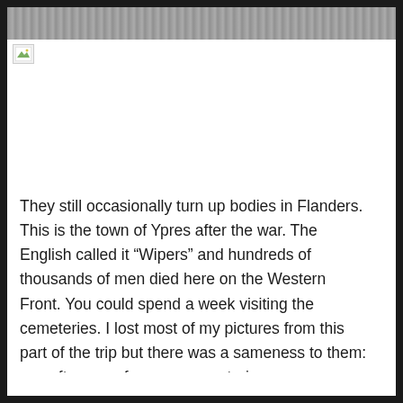[Figure (photo): Gray textured photograph at top of page, partially visible, appears to show a landscape or ground surface]
[Figure (photo): Broken image placeholder icon with green/yellow image icon, followed by a horizontal ruled line]
They still occasionally turn up bodies in Flanders. This is the town of Ypres after the war. The English called it “Wipers” and hundreds of thousands of men died here on the Western Front. You could spend a week visiting the cemeteries. I lost most of my pictures from this part of the trip but there was a sameness to them: row after row of graves, cemeteries indistinguishable except in their size. In